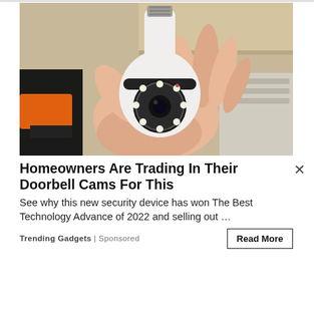[Figure (photo): A hand holding a white security camera shaped like a light bulb, with a screw-type base at the top and a rotating camera head with LED lights around the lens. Background shows wooden shelves and cardboard packaging.]
Homeowners Are Trading In Their Doorbell Cams For This
See why this new security device has won The Best Technology Advance of 2022 and selling out …
Trending Gadgets | Sponsored
Read More